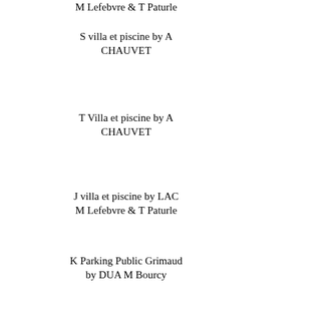M Lefebvre & T Paturle
S villa et piscine by A CHAUVET
T Villa et piscine by A CHAUVET
J villa et piscine by LAC M Lefebvre & T Paturle
K Parking Public Grimaud by DUA M Bourcy
L Parking Public Grimaud by DUA M Bourcy
M Parking Public Grimaud by DUA M Bourcy
N villa et piscine by LAC M Lefebvre & T Paturle
O villa et piscine by LAC M Lefebvre & T Paturle
P villa et piscine by LAC M Lefebvre & T Paturle